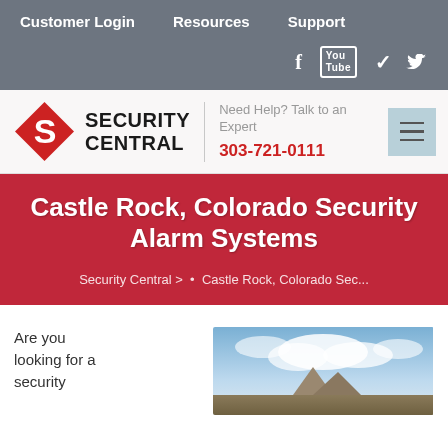Customer Login   Resources   Support
[Figure (screenshot): Social media icons: Facebook, YouTube, Twitter]
[Figure (logo): Security Central logo with red diamond S icon and bold text SECURITY CENTRAL]
Need Help? Talk to an Expert
303-721-0111
Castle Rock, Colorado Security Alarm Systems
Security Central >  •  Castle Rock, Colorado Sec...
Are you looking for a security
[Figure (photo): Photo of Castle Rock Colorado landscape with cloudy sky]